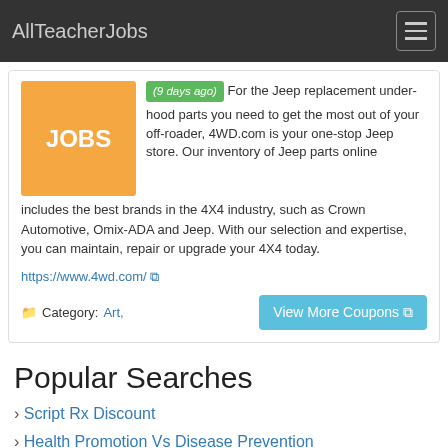AllTeacherJobs
(9 days ago) For the Jeep replacement under-hood parts you need to get the most out of your off-roader, 4WD.com is your one-stop Jeep store. Our inventory of Jeep parts online includes the best brands in the 4X4 industry, such as Crown Automotive, Omix-ADA and Jeep. With our selection and expertise, you can maintain, repair or upgrade your 4X4 today.
https://www.4wd.com/
Category: Art,
View More Coupons
Popular Searches
Script Rx Discount
Health Promotion Vs Disease Prevention